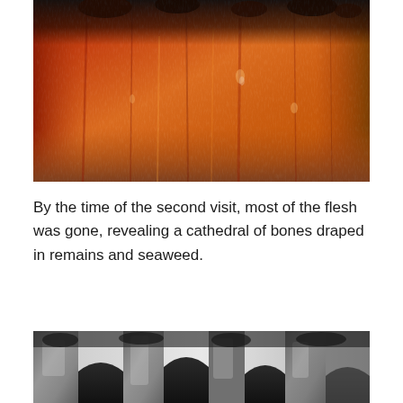[Figure (photo): Close-up photograph of what appears to be charred or cooked flesh/skin, showing rich orange, amber, red, and dark brown textures with moist, glistening surface. Some blackened remnants visible at the top edge.]
By the time of the second visit, most of the flesh was gone, revealing a cathedral of bones draped in remains and seaweed.
[Figure (photo): Photograph of large weathered bones or rock formations, gray and white in color, arranged in arch-like cathedral shapes with dark openings/cavities, draped with dark material resembling seaweed or decomposed tissue.]